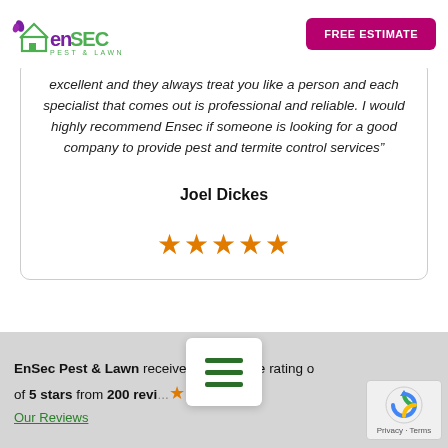EnSec Pest & Lawn | FREE ESTIMATE
excellent and they always treat you like a person and each specialist that comes out is professional and reliable. I would highly recommend Ensec if someone is looking for a good company to provide pest and termite control services”
Joel Dickes
[Figure (other): Five orange star rating icons]
EnSec Pest & Lawn received an average rating of 4.8 of 5 stars from 200 reviews. Our Reviews
[Figure (other): reCAPTCHA badge with Privacy and Terms]